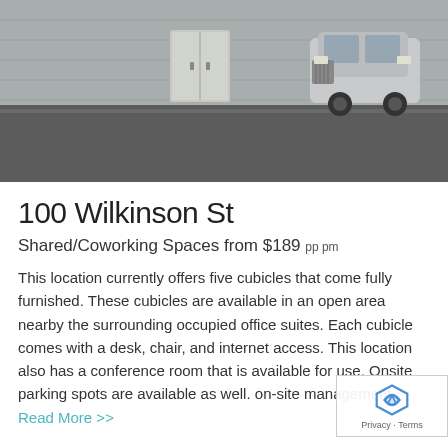[Figure (photo): Exterior photo of a commercial building with a Jeep SUV parked in front, showing a grey metal-sided building and asphalt parking lot]
100 Wilkinson St
Shared/Coworking Spaces from $189 pp pm
This location currently offers five cubicles that come fully furnished. These cubicles are available in an open area nearby the surrounding occupied office suites. Each cubicle comes with a desk, chair, and internet access. This location also has a conference room that is available for use. Onsite parking spots are available as well. on-site management... Read More >>